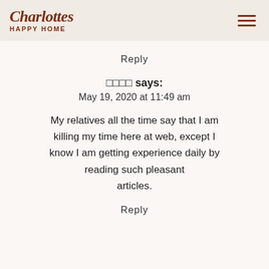Charlottes HAPPY HOME
Reply
□□□□ says:
May 19, 2020 at 11:49 am
My relatives all the time say that I am killing my time here at web, except I know I am getting experience daily by reading such pleasant articles.
Reply